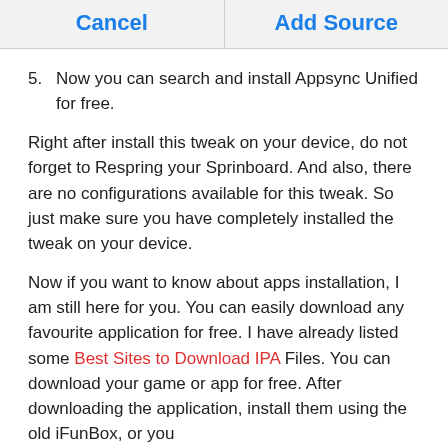| Cancel | Add Source |
| --- | --- |
5. Now you can search and install Appsync Unified for free.
Right after install this tweak on your device, do not forget to Respring your Sprinboard. And also, there are no configurations available for this tweak. So just make sure you have completely installed the tweak on your device.
Now if you want to know about apps installation, I am still here for you. You can easily download any favourite application for free. I have already listed some Best Sites to Download IPA Files. You can download your game or app for free. After downloading the application, install them using the old iFunBox, or you